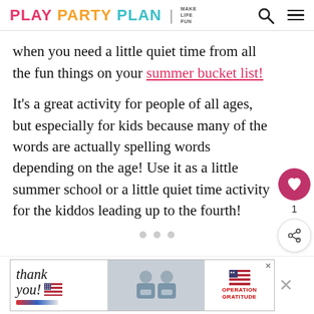PLAY PARTY PLAN | MAKE LIFE FUN
when you need a little quiet time from all the fun things on your summer bucket list!
It's a great activity for people of all ages, but especially for kids because many of the words are actually spelling words depending on the age! Use it as a little summer school or a little quiet time activity for the kiddos leading up to the fourth!
[Figure (screenshot): Advertisement banner for Operation Gratitude featuring a thank you note with an American flag pencil and masked healthcare workers holding cards.]